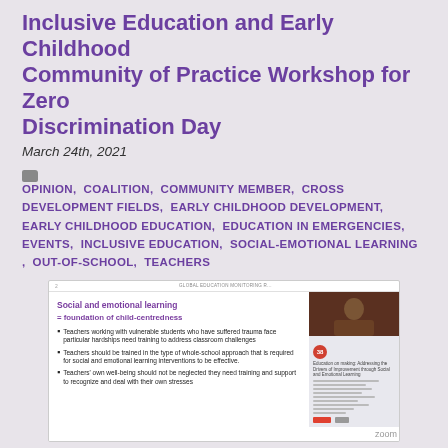Inclusive Education and Early Childhood Community of Practice Workshop for Zero Discrimination Day
March 24th, 2021
OPINION, COALITION, COMMUNITY MEMBER, CROSS DEVELOPMENT FIELDS, EARLY CHILDHOOD DEVELOPMENT, EARLY CHILDHOOD EDUCATION, EDUCATION IN EMERGENCIES, EVENTS, INCLUSIVE EDUCATION, SOCIAL-EMOTIONAL LEARNING, OUT-OF-SCHOOL, TEACHERS
[Figure (screenshot): Screenshot of a virtual workshop slide and video call. The slide shows 'Social and emotional learning = foundation of child-centredness' with bullet points about teachers working with vulnerable students. A video thumbnail shows a presenter. A document preview is also visible.]
Inclusive Education and Early Childhood Community of Practice members Salzburg Global Seminar, Humanity &